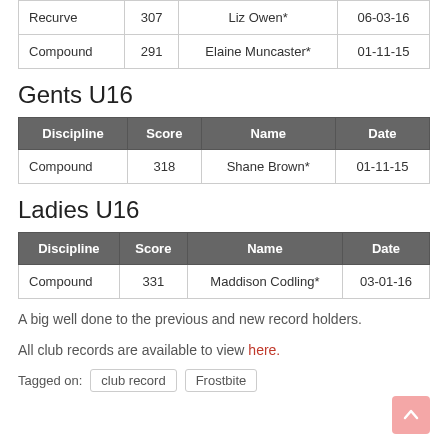| Discipline | Score | Name | Date |
| --- | --- | --- | --- |
| Recurve | 307 | Liz Owen* | 06-03-16 |
| Compound | 291 | Elaine Muncaster* | 01-11-15 |
Gents U16
| Discipline | Score | Name | Date |
| --- | --- | --- | --- |
| Compound | 318 | Shane Brown* | 01-11-15 |
Ladies U16
| Discipline | Score | Name | Date |
| --- | --- | --- | --- |
| Compound | 331 | Maddison Codling* | 03-01-16 |
A big well done to the previous and new record holders.
All club records are available to view here.
Tagged on:  club record  Frostbite